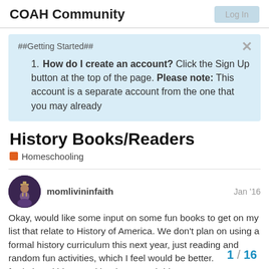COAH Community
##Getting Started##
How do I create an account? Click the Sign Up button at the top of the page. Please note: This account is a separate account from the one that you may already
History Books/Readers
Homeschooling
momlivininfaith  Jan '16
Okay, would like some input on some fun books to get on my list that relate to History of America. We don't plan on using a formal history curriculum this next year, just reading and random fun activities, which I feel would be better. fun/relaxed ideas and books to teach histo
1 / 16